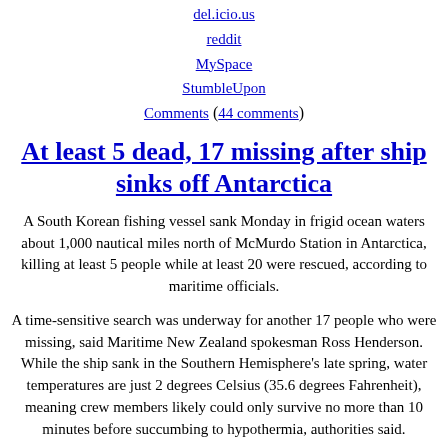del.icio.us
reddit
MySpace
StumbleUpon
Comments (44 comments)
At least 5 dead, 17 missing after ship sinks off Antarctica
A South Korean fishing vessel sank Monday in frigid ocean waters about 1,000 nautical miles north of McMurdo Station in Antarctica, killing at least 5 people while at least 20 were rescued, according to maritime officials.
A time-sensitive search was underway for another 17 people who were missing, said Maritime New Zealand spokesman Ross Henderson. While the ship sank in the Southern Hemisphere's late spring, water temperatures are just 2 degrees Celsius (35.6 degrees Fahrenheit), meaning crew members likely could only survive no more than 10 minutes before succumbing to hypothermia, authorities said.
The New Zealand agency and the Korea Coast Guard said that five people had died, 20 were rescued and 17 were missing.